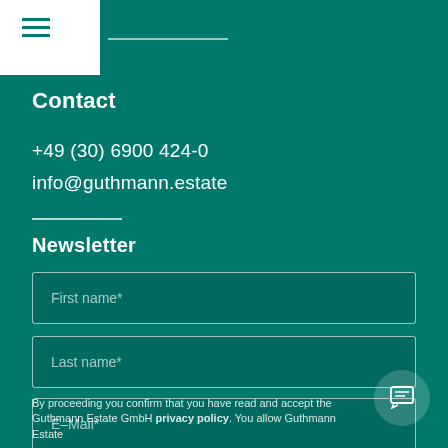Contact
+49 (30) 6900 424-0
info@guthmann.estate
Newsletter
First name*
Last name*
E-Mail*
By proceeding you confirm that you have read and accept the Guthmann Estate GmbH privacy policy. You allow Guthmann Estate